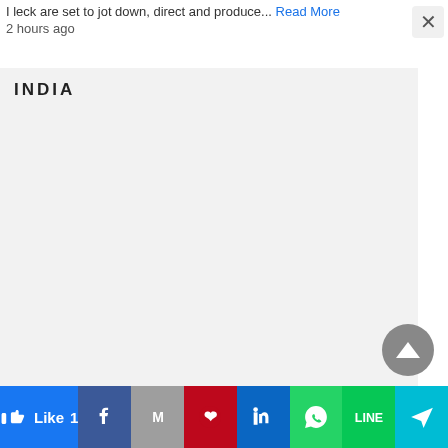I leck are set to jot down, direct and produce... Read More
2 hours ago
INDIA
[Figure (other): Scroll-to-top circular button with upward triangle arrow]
Like 1 | Facebook | Gmail | Pinterest | LinkedIn | WhatsApp | Line | Share